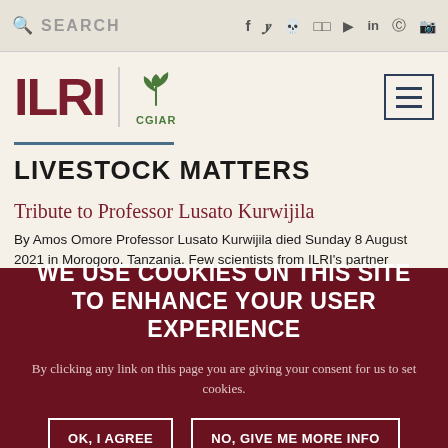SEARCH
[Figure (logo): ILRI CGIAR logo with plant icon]
LIVESTOCK MATTERS
Tribute to Professor Lusato Kurwijila
By Amos Omore Professor Lusato Kurwijila died Sunday 8 August 2021 in Morogoro, Tanzania. Few scientists from ILRI's partner organizations have had
WE USE COOKIES ON THIS SITE TO ENHANCE YOUR USER EXPERIENCE
By clicking any link on this page you are giving your consent for us to set cookies.
OK, I AGREE
NO, GIVE ME MORE INFO